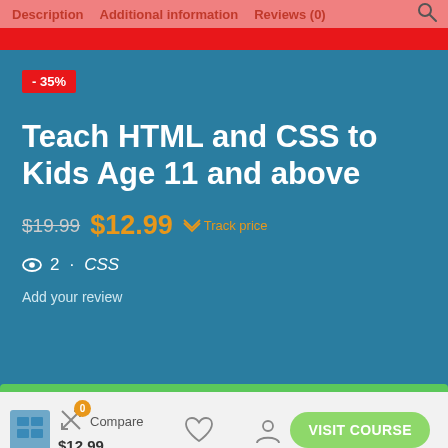Description  Additional information  Reviews (0)
[Figure (screenshot): Discount badge showing -35% in red]
Teach HTML and CSS to Kids Age 11 and above
$19.99  $12.99  Track price
2 · CSS
Add your review
Compare  $12.99
VISIT COURSE